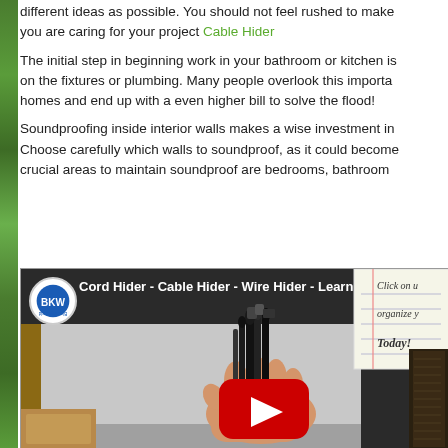different ideas as possible. You should not feel rushed to make you are caring for your project Cable Hider
The initial step in beginning work in your bathroom or kitchen is on the fixtures or plumbing. Many people overlook this importa homes and end up with a even higher bill to solve the flood!
Soundproofing inside interior walls makes a wise investment in Choose carefully which walls to soundproof, as it could become crucial areas to maintain soundproof are bedrooms, bathroom
[Figure (screenshot): YouTube video thumbnail showing a hand holding a bundle of black cables/cord hider, with BlueKeyWorld channel logo, video title 'Cord Hider - Cable Hider - Wire Hider - Learn...' a notepad showing 'Click on u organize y Today!' text, and a YouTube play button overlay]